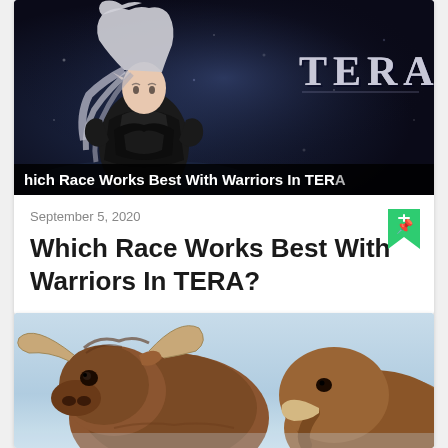[Figure (screenshot): TERA game promotional image showing a dark fantasy female elf character with white/silver hair and dark armor, with the TERA game logo in the upper right. Overlay text at bottom reads 'hich Race Works Best With Warriors In TERA']
September 5, 2020
Which Race Works Best With Warriors In TERA?
[Figure (photo): Photo of a large brown bull or bison-like creature with large curved horns, shown against a light blue sky background. A partial mammoth or similar creature visible on the right side.]